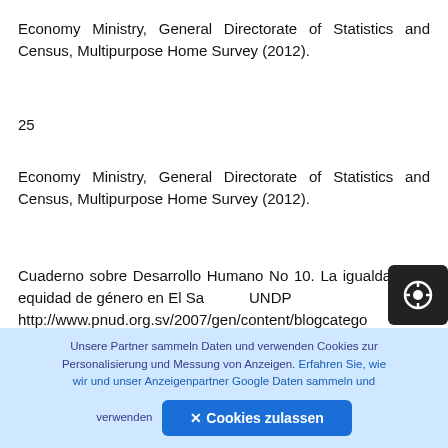Economy Ministry, General Directorate of Statistics and Census, Multipurpose Home Survey (2012).
25
Economy Ministry, General Directorate of Statistics and Census, Multipurpose Home Survey (2012).
Cuaderno sobre Desarrollo Humano No 10. La igualdad y la equidad de género en El Sa... UNDP http://www.pnud.org.sv/2007/gen/content/blogcatego... Encuesta de Hogares de Propósitos Múltiples 2012 (El Salvadorian Economic Ministry)